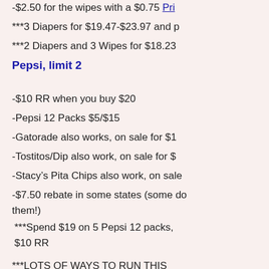-$2.50 for the wipes with a $0.75 Pri
***3 Diapers for $19.47-$23.97 and p
***2 Diapers and 3 Wipes for $18.23
Pepsi, limit 2
-$10 RR when you buy $20
-Pepsi 12 Packs $5/$15
-Gatorade also works, on sale for $1
-Tostitos/Dip also work, on sale for $
-Stacy's Pita Chips also work, on sale
-$7.50 rebate in some states (some do them!)
***Spend $19 on 5 Pepsi 12 packs, $10 RR
***LOTS OF WAYS TO RUN THIS
Theraflu + Lipton Tea
-Theraflu is $3.99, Lipton is $2.99, $4
-$2 on Theraflu (Printable or SS 12
***Spend $4.98, Get $4 RR